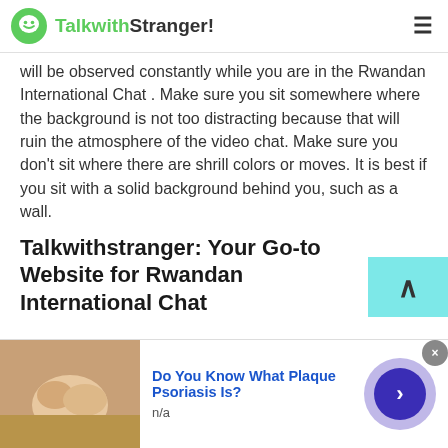TalkwithStranger!
will be observed constantly while you are in the Rwandan International Chat . Make sure you sit somewhere where the background is not too distracting because that will ruin the atmosphere of the video chat. Make sure you don't sit where there are shrill colors or moves. It is best if you sit with a solid background behind you, such as a wall.
Talkwithstranger: Your Go-to Website for Rwandan International Chat
[Figure (screenshot): Advertisement banner: image of hands on left, bold blue text 'Do You Know What Plaque Psoriasis Is?' with 'n/a' below, close button top right, arrow button right side]
Do You Know What Plaque Psoriasis Is?
n/a